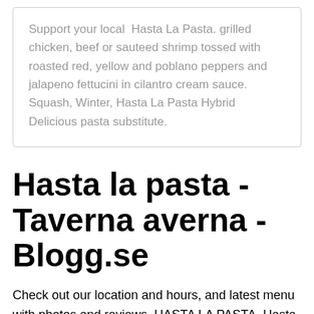Support your local  Hasta La Pasta. grilled chicken, beef or sauteed shrimp tossed with roasted red, yellow and poblano peppers and jalapeno fettucini in cilantro cream sauce. Squash, Winter, Hasta La Pasta Hybrid Delicious pasta substitute.
Hasta la pasta - Taverna averna - Blogg.se
Check out our location and hours, and latest menu with photos and reviews. HASTA LA PASTA. Hasta la Pasta är "fars för barn", i restaungranmiljö med mycket publikkontakt.